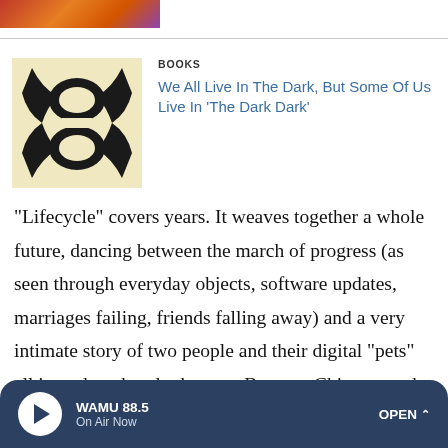[Figure (photo): Partial top strip showing a colorful image, cropped at top of page]
[Figure (photo): Book cover for 'The Dark Dark' showing black and white abstract mirrored face image on beige background]
BOOKS
We All Live In The Dark, But Some Of Us Live In 'The Dark Dark'
"Lifecycle" covers years. It weaves together a whole future, dancing between the march of progress (as seen through everyday objects, software updates, marriages failing, friends falling away) and a very intimate story of two people and their digital "pets" all in under a hundred pages. Because Chiang can do that. Like Annie Proulx or Jim Harrison, he has that tool in his box that makes him capable of telling a story of decades in a handful of words. And when he puts
WAMU 88.5 On Air Now OPEN